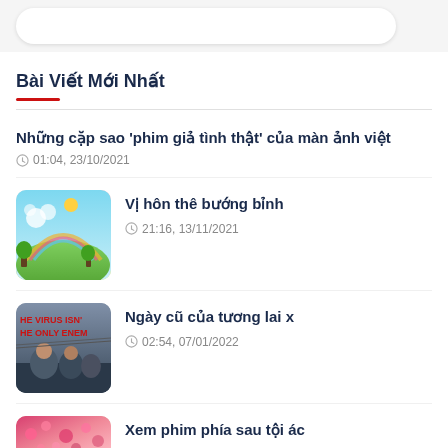Bài Viết Mới Nhất
Những cặp sao 'phim giả tình thật' của màn ảnh việt
01:04, 23/10/2021
Vị hôn thê bướng bỉnh
21:16, 13/11/2021
Ngày cũ của tương lai x
02:54, 07/01/2022
Xem phim phía sau tội ác